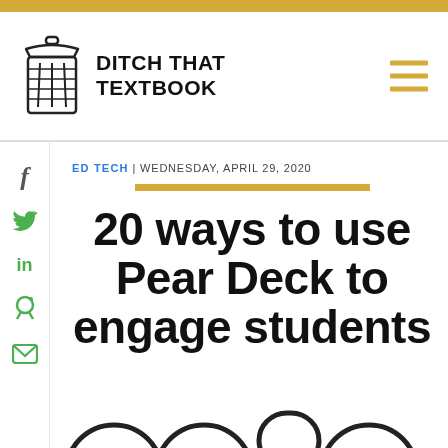DITCH THAT TEXTBOOK
ED TECH | WEDNESDAY, APRIL 29, 2020
20 ways to use Pear Deck to engage students